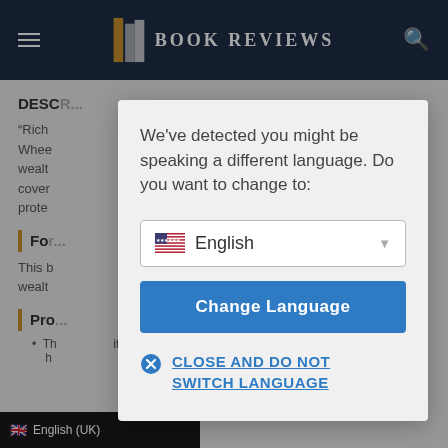BOOK REVIEWS
DESCRIPTION
“Rich ... Tom Whee... wealth... book cover... prote...
For...
This b... wealth...
Pro...
Th... with actionable insights that can h... ive wealth.
[Figure (screenshot): Language change modal dialog overlay on a Book Reviews website. The modal contains the prompt 'We've detected you might be speaking a different language. Do you want to change to:', a dropdown selector showing 'English' with a US flag, a blue 'Change Language' button, and a 'CLOSE AND DO NOT SWITCH LANGUAGE' link with an X icon. The background shows the Book Reviews navigation and page content blurred behind the overlay. A bottom bar shows 'English (UK)' with a UK flag.]